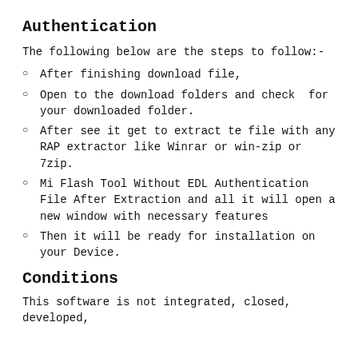Authentication
The following below are the steps to follow:-
After finishing download file,
Open to the download folders and check  for your downloaded folder.
After see it get to extract te file with any RAP extractor like Winrar or win-zip or 7zip.
Mi Flash Tool Without EDL Authentication File After Extraction and all it will open a new window with necessary features
Then it will be ready for installation on your Device.
Conditions
This software is not integrated, closed, developed,